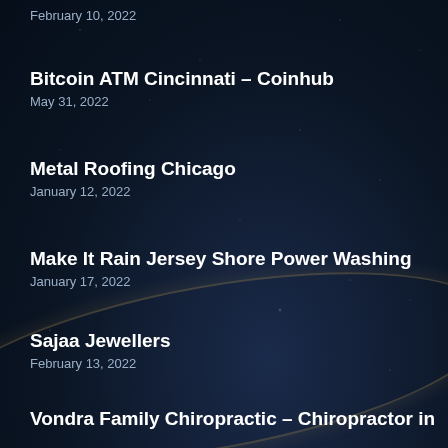February 10, 2022
Bitcoin ATM Cincinnati – Coinhub
May 31, 2022
Metal Roofing Chicago
January 12, 2022
Make It Rain Jersey Shore Power Washing
January 17, 2022
Sajaa Jewellers
February 13, 2022
Vondra Family Chiropractic – Chiropractor in